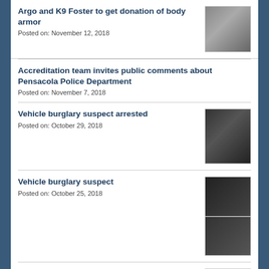Argo and K9 Foster to get donation of body armor
Posted on: November 12, 2018
Accreditation team invites public comments about Pensacola Police Department
Posted on: November 7, 2018
Vehicle burglary suspect arrested
Posted on: October 29, 2018
Vehicle burglary suspect
Posted on: October 25, 2018
Man wanted on multiple charges
Posted on: October 8, 2018